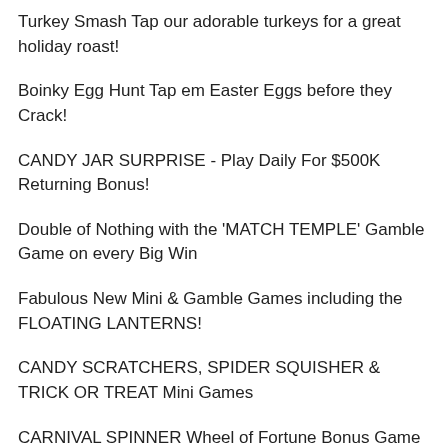Turkey Smash Tap our adorable turkeys for a great holiday roast!
Boinky Egg Hunt Tap em Easter Eggs before they Crack!
CANDY JAR SURPRISE - Play Daily For $500K Returning Bonus!
Double of Nothing with the 'MATCH TEMPLE' Gamble Game on every Big Win
Fabulous New Mini & Gamble Games including the FLOATING LANTERNS!
CANDY SCRATCHERS, SPIDER SQUISHER & TRICK OR TREAT Mini Games
CARNIVAL SPINNER Wheel of Fortune Bonus Game